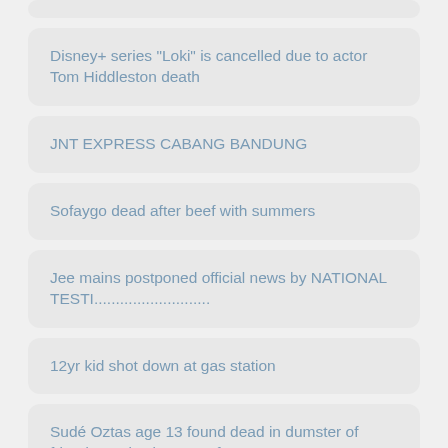Disney+ series "Loki" is cancelled due to actor Tom Hiddleston death
JNT EXPRESS CABANG BANDUNG
Sofaygo dead after beef with summers
Jee mains postponed official news by NATIONAL TESTI...........................
12yr kid shot down at gas station
Sudé Oztas age 13 found dead in dumster of friend ameries basemenf
ForBadBunny.OF